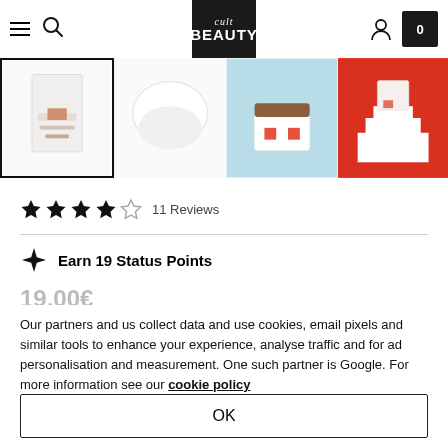Cult Beauty
[Figure (screenshot): Four product thumbnail images in a horizontal strip: first selected with black border showing product packaging, second showing white cotton pads, third showing a product jar on blue background, fourth showing product on red background]
11 Reviews
Earn 19 Status Points
19.00€
Quantity
Our partners and us collect data and use cookies, email pixels and similar tools to enhance your experience, analyse traffic and for ad personalisation and measurement. One such partner is Google. For more information see our cookie policy
OK